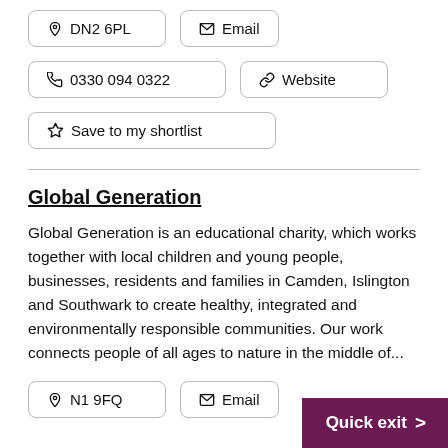DN2 6PL
Email
0330 094 0322
Website
Save to my shortlist
Global Generation
Global Generation is an educational charity, which works together with local children and young people, businesses, residents and families in Camden, Islington and Southwark to create healthy, integrated and environmentally responsible communities. Our work connects people of all ages to nature in the middle of...
N1 9FQ
Email
Quick exit